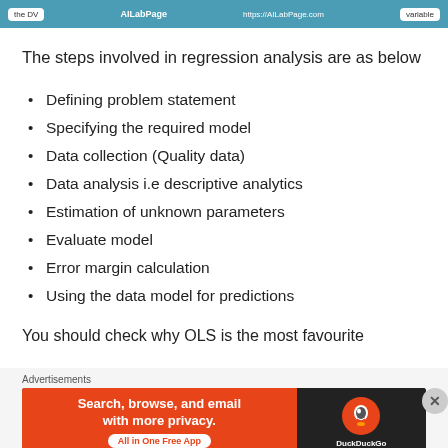[Figure (screenshot): AILabPage website header bar with teal/blue background showing 'the DV', 'AILabPage', 'https://AILabPage.com', and 'variable' labels]
The steps involved in regression analysis are as below
Defining problem statement
Specifying the required model
Data collection (Quality data)
Data analysis i.e descriptive analytics
Estimation of unknown parameters
Evaluate model
Error margin calculation
Using the data model for predictions
You should check why OLS is the most favourite
[Figure (screenshot): DuckDuckGo advertisement banner: orange left section with 'Search, browse, and email with more privacy. All in One Free App' and dark right section with DuckDuckGo logo]